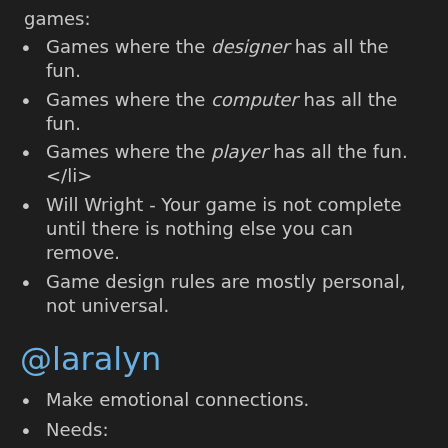games:
Games where the designer has all the fun.
Games where the computer has all the fun.
Games where the player has all the fun. </li>
Will Wright - Your game is not complete until there is nothing else you can remove.
Game design rules are mostly personal, not universal.
@laralyn
Make emotional connections.
Needs:
Relationship
Skill
Ownership
Info